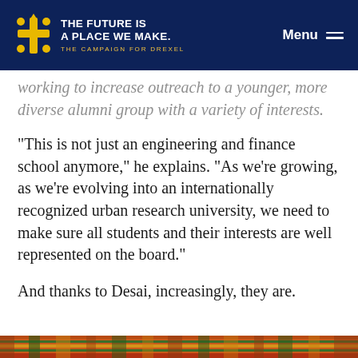THE FUTURE IS A PLACE WE MAKE. THE CAMPAIGN FOR DREXEL | Menu
working to increase outreach to a younger, more diverse alumni group with a variety of interests.
"This is not just an engineering and finance school anymore," he explains. "As we're growing, as we're evolving into an internationally recognized urban research university, we need to make sure all students and their interests are well represented on the board."
And thanks to Desai, increasingly, they are.
[Figure (photo): Colorful kente cloth pattern at the bottom of the page]